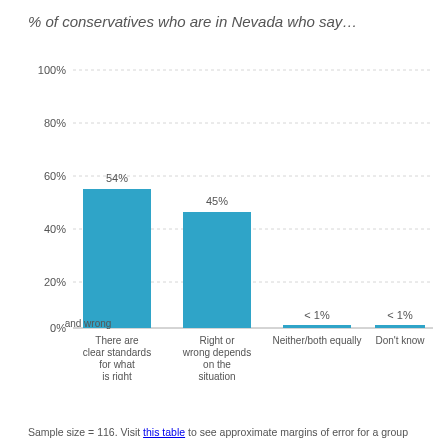% of conservatives who are in Nevada who say…
[Figure (bar-chart): % of conservatives who are in Nevada who say…]
Sample size = 116. Visit this table to see approximate margins of error for a group